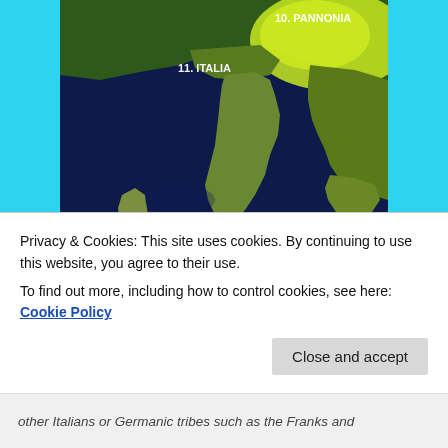[Figure (map): Satellite orthographic map of Italy and surrounding Mediterranean region. Labels show '10. PANNONIA' in upper right area and '11. ITALIA' over the Italian peninsula. The Po valley area glows bright green/yellow. The Mediterranean Sea is dark navy blue. Sardinia, Sicily, and the Balkans are also visible.]
— "Lombard Migration" by Castagna – Own elaboration from Image: Europe satellite orthographic.jpg. Licensed
Privacy & Cookies: This site uses cookies. By continuing to use this website, you agree to their use.
To find out more, including how to control cookies, see here: Cookie Policy
other Italians or Germanic tribes such as the Franks and